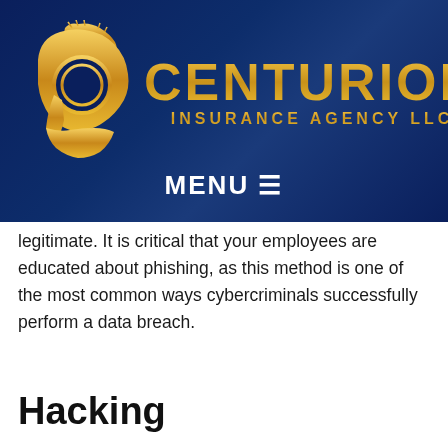[Figure (logo): Centurion Insurance Agency LLC logo with golden Spartan helmet and gold text on dark navy blue gradient background]
MENU ☰
legitimate. It is critical that your employees are educated about phishing, as this method is one of the most common ways cybercriminals successfully perform a data breach.
Hacking